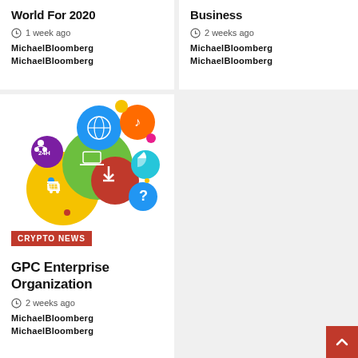World For 2020
1 week ago
MichaelBloomberg
MichaelBloomberg
Business
2 weeks ago
MichaelBloomberg
MichaelBloomberg
[Figure (illustration): Colorful circles with social media and e-commerce icons including a globe, music note, shopping cart, download icon, question mark, and more]
CRYPTO NEWS
GPC Enterprise Organization
2 weeks ago
MichaelBloomberg
MichaelBloomberg